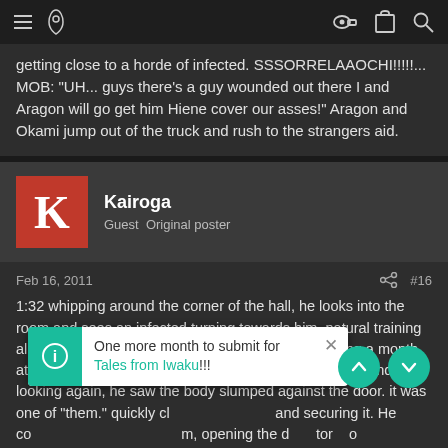[navigation bar with menu, logo, key, clipboard, and search icons]
getting close to a horde of infected. SSSORRELAAOCHI!!!!!... MOB: "UH... guys there's a guy wounded out there I and Aragon will go get him Hiene cover our asses!" Aragon and Okami jump out of the truck and rush to the strangers aid.
Kairoga
Guest  Original poster
Feb 16, 2011  #16
1:32 whipping around the corner of the hall, he looks into the room and sees an infected turning towards him. natural training almost made him aim for the chest, but after spending a month at the small town he forced himself to aim for the head and fire. looking again, he saw the body slumped against the door. it was one of "them." quickly cl and securing it. He co m, opening the d tor o pallet with the forklift ready to go. looking up he grabbed a box of
One more month to submit for Tales from Iwaku!!!